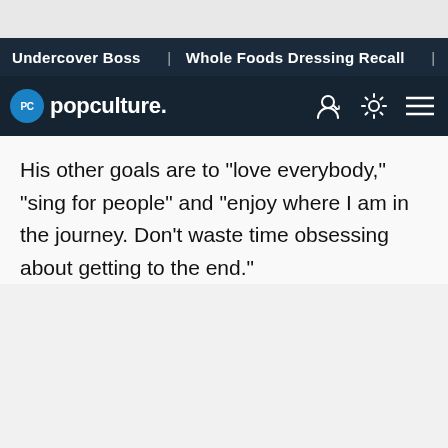Undercover Boss | Whole Foods Dressing Recall | Anastasia
[Figure (logo): Popculture.com logo with blue circle PC icon and navigation icons]
His other goals are to "love everybody," "sing for people" and "enjoy where I am in the journey. Don't waste time obsessing about getting to the end."